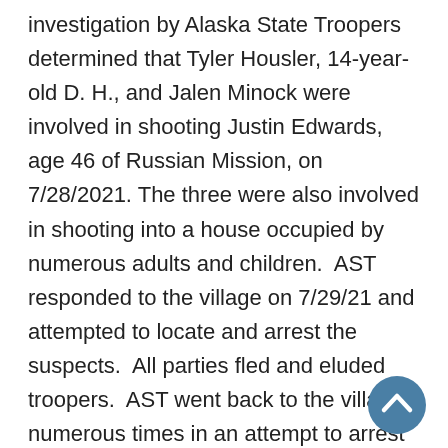investigation by Alaska State Troopers determined that Tyler Housler, 14-year-old D. H., and Jalen Minock were involved in shooting Justin Edwards, age 46 of Russian Mission, on 7/28/2021. The three were also involved in shooting into a house occupied by numerous adults and children.  AST responded to the village on 7/29/21 and attempted to locate and arrest the suspects.  All parties fled and eluded troopers.  AST went back to the village numerous times in an attempt to arrest the suspects.  Tyler Housler was observed on several occasions to take a boat and flee in extremely hazardous weather conditions on the Yukon River.  On one attempt AST rented a boat and driver and went upriver checking fish camps and sloughs but were unable to locate the suspects.  AST has also used borrowed ATVs to check fish camps and outlying areas of the village.